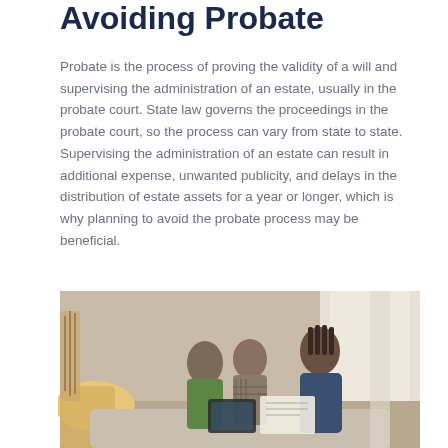Avoiding Probate
Probate is the process of proving the validity of a will and supervising the administration of an estate, usually in the probate court. State law governs the proceedings in the probate court, so the process can vary from state to state. Supervising the administration of an estate can result in additional expense, unwanted publicity, and delays in the distribution of estate assets for a year or longer, which is why planning to avoid the probate process may be beneficial.
[Figure (photo): Three people sitting together in a living room setting — two older adults (a woman in green and a man in plaid) and a younger woman in a navy turtleneck — reviewing documents together, likely in a financial planning or legal consultation context.]